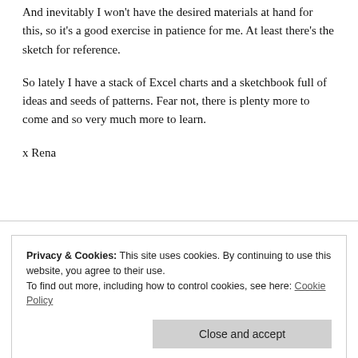And inevitably I won't have the desired materials at hand for this, so it's a good exercise in patience for me. At least there's the sketch for reference.
So lately I have a stack of Excel charts and a sketchbook full of ideas and seeds of patterns. Fear not, there is plenty more to come and so very much more to learn.
x Rena
Privacy & Cookies: This site uses cookies. By continuing to use this website, you agree to their use.
To find out more, including how to control cookies, see here: Cookie Policy
August 13, 2012   1 Comment